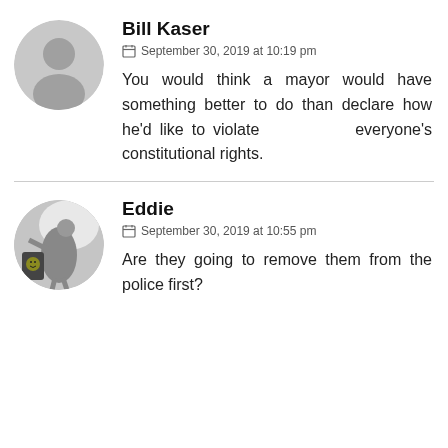[Figure (photo): Gray default user avatar silhouette circle]
Bill Kaser
September 30, 2019 at 10:19 pm
You would think a mayor would have something better to do than declare how he'd like to violate everyone's constitutional rights.
[Figure (photo): Profile photo of user Eddie: grayscale photo of a person in a costume carrying a bag, cropped in circle]
Eddie
September 30, 2019 at 10:55 pm
Are they going to remove them from the police first?